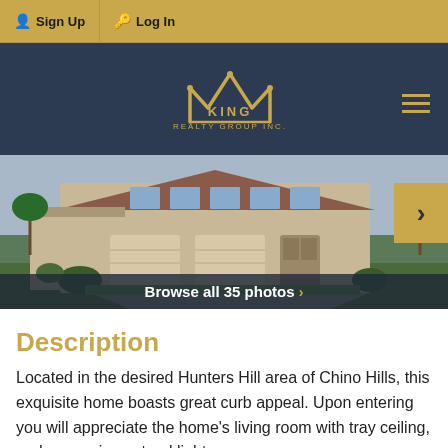Sign Up | Log In
[Figure (logo): King Realty Group Inc. crown logo in gold on dark navy background]
[Figure (photo): Exterior photo of a two-story residential home with a large garage, landscaping, palm trees. Overlay: 'Browse all 35 photos ›']
Description
Located in the desired Hunters Hill area of Chino Hills, this exquisite home boasts great curb appeal. Upon entering you will appreciate the home's living room with tray ceiling, and expansive natural light